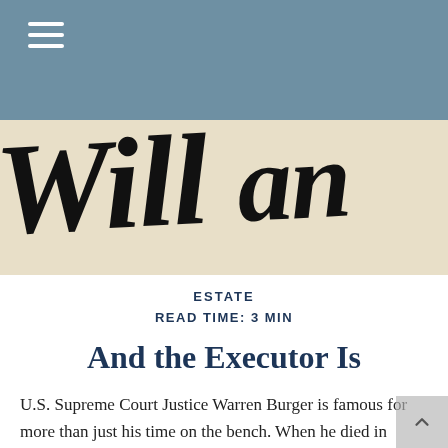[Figure (illustration): A close-up of an old will document with gothic/blackletter script text reading 'Will' on a parchment-colored background, partially visible]
ESTATE
READ TIME: 3 MIN
And the Executor Is
U.S. Supreme Court Justice Warren Burger is famous for more than just his time on the bench. When he died in 1995, he left a 176-word will that gave no specific power to his executors. As a result, he reportedly cost his estate tens of thousands of dollars in attorney's fees.1